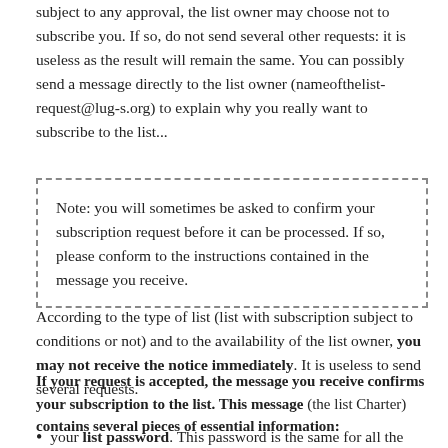subject to any approval, the list owner may choose not to subscribe you. If so, do not send several other requests: it is useless as the result will remain the same. You can possibly send a message directly to the list owner (nameofthelist-request@lug-s.org) to explain why you really want to subscribe to the list...
Note: you will sometimes be asked to confirm your subscription request before it can be processed. If so, please conform to the instructions contained in the message you receive.
According to the type of list (list with subscription subject to conditions or not) and to the availability of the list owner, you may not receive the notice immediately. It is useless to send several requests.
If your request is accepted, the message you receive confirms your subscription to the list. This message (the list Charter) contains several pieces of essential information:
your list password. This password is the same for all the lists you subscribed to with a single email address. You can